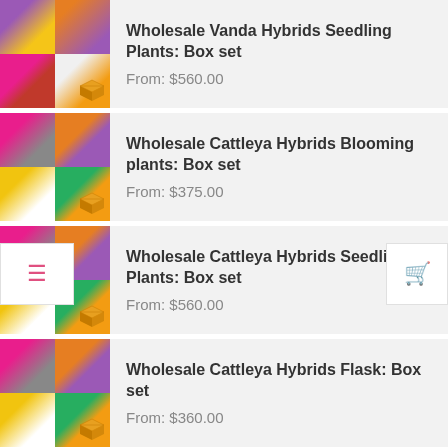[Figure (photo): Wholesale Vanda Hybrids Seedling Plants product image collage with box icon]
Wholesale Vanda Hybrids Seedling Plants: Box set
From: $560.00
[Figure (photo): Wholesale Cattleya Hybrids Blooming plants product image collage with box icon]
Wholesale Cattleya Hybrids Blooming plants: Box set
From: $375.00
[Figure (photo): Wholesale Cattleya Hybrids Seedling Plants product image collage with box icon]
Wholesale Cattleya Hybrids Seedling Plants: Box set
From: $560.00
[Figure (photo): Wholesale Cattleya Hybrids Flask product image collage with box icon]
Wholesale Cattleya Hybrids Flask: Box set
From: $360.00
[Figure (photo): Wholesale Phalaenopsis Hybrids product image partial]
Wholesale Phalaenopsis Hybrids